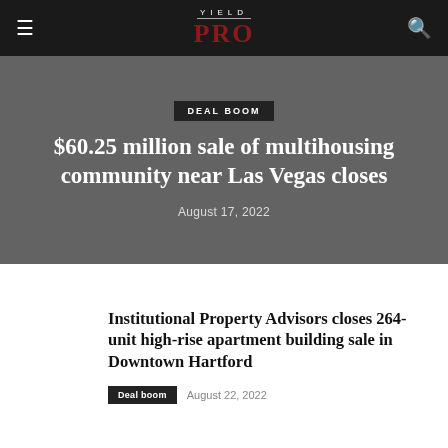YIELD PRO
DEAL BOOM
$60.25 million sale of multihousing community near Las Vegas closes
August 17, 2022
Institutional Property Advisors closes 264-unit high-rise apartment building sale in Downtown Hartford
Deal boom  August 22, 2022